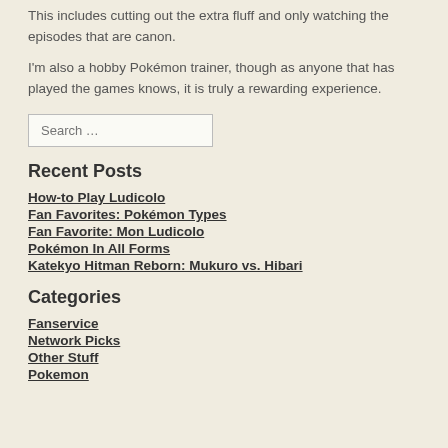This includes cutting out the extra fluff and only watching the episodes that are canon.
I'm also a hobby Pokémon trainer, though as anyone that has played the games knows, it is truly a rewarding experience.
Search …
Recent Posts
How-to Play Ludicolo
Fan Favorites: Pokémon Types
Fan Favorite: Mon Ludicolo
Pokémon In All Forms
Katekyo Hitman Reborn: Mukuro vs. Hibari
Categories
Fanservice
Network Picks
Other Stuff
Pokemon